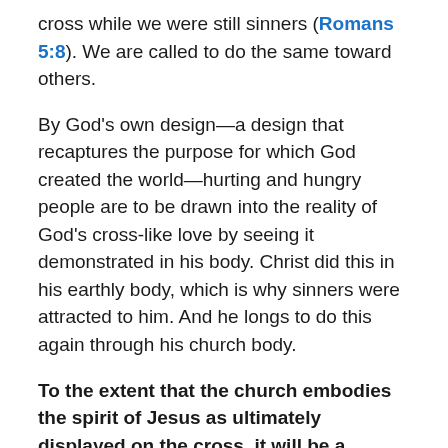cross while we were still sinners (Romans 5:8). We are called to do the same toward others.
By God’s own design—a design that recaptures the purpose for which God created the world—hurting and hungry people are to be drawn into the reality of God’s cross-like love by seeing it demonstrated in his body. Christ did this in his earthly body, which is why sinners were attracted to him. And he longs to do this again through his church body.
To the extent that the church embodies the spirit of Jesus as ultimately displayed on the cross, it will be a magnet for the hurting and the outcast.
On the other hand, to the extent that the church embodies a judgmental, critical spirit that sets up a perimeter, it will